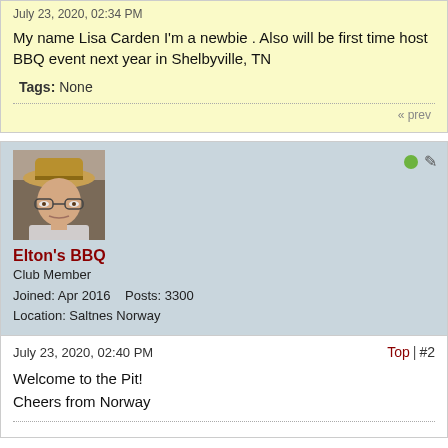July 23, 2020, 02:34 PM
My name Lisa Carden I'm a newbie . Also will be first time host BBQ event next year in Shelbyville, TN
Tags: None
« prev
[Figure (photo): Profile photo of a man wearing a tan cowboy hat with glasses]
Elton's BBQ
Club Member
Joined: Apr 2016    Posts: 3300
Location: Saltnes Norway
July 23, 2020, 02:40 PM
Top | #2
Welcome to the Pit!
Cheers from Norway